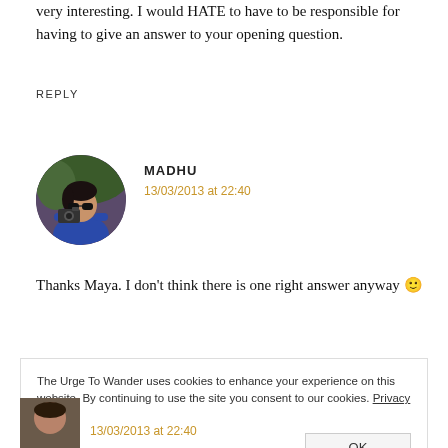very interesting. I would HATE to have to be responsible for having to give an answer to your opening question.
REPLY
[Figure (photo): Circular avatar photo of Madhu, a woman holding a camera, wearing sunglasses and a blue top]
MADHU
13/03/2013 at 22:40
Thanks Maya. I don't think there is one right answer anyway 🙂
The Urge To Wander uses cookies to enhance your experience on this website. By continuing to use the site you consent to our cookies. Privacy Policy
OK
13/03/2013 at 22:40